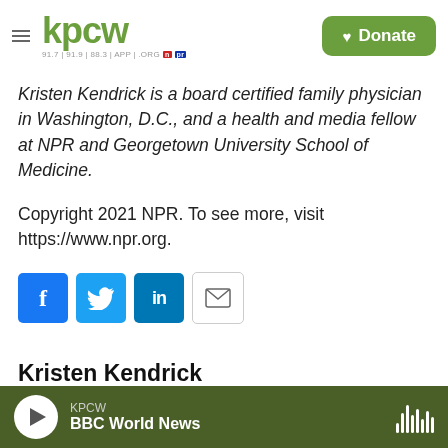KPCW | Donate
Kristen Kendrick is a board certified family physician in Washington, D.C., and a health and media fellow at NPR and Georgetown University School of Medicine.
Copyright 2021 NPR. To see more, visit https://www.npr.org.
[Figure (infographic): Social share icons: Facebook (f), Twitter (bird), LinkedIn (in), Email (envelope)]
Kristen Kendrick
See stories by Kristen Kendrick
KPCW — BBC World News (audio player bar)